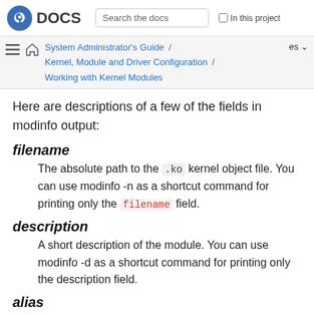Fedora DOCS | Search the docs | In this project
System Administrator's Guide / Kernel, Module and Driver Configuration / Working with Kernel Modules | es
Here are descriptions of a few of the fields in modinfo output:
filename
The absolute path to the .ko kernel object file. You can use modinfo -n as a shortcut command for printing only the filename field.
description
A short description of the module. You can use modinfo -d as a shortcut command for printing only the description field.
alias